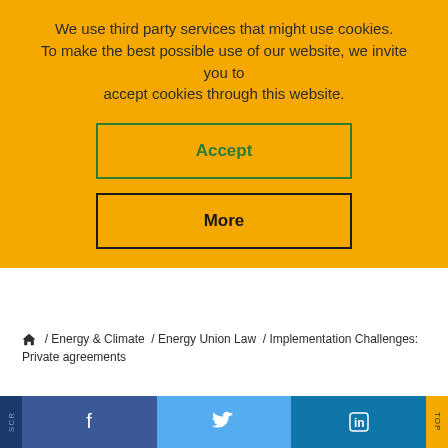We use third party services that might use cookies. To make the best possible use of our website, we invite you to accept cookies through this website.
Accept
More
/ Energy & Climate / Energy Union Law / Implementation Challenges: Private agreements
ENERGY UNION LAW